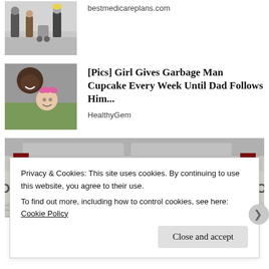[Figure (photo): Partial cropped photo of people walking, top of page]
bestmedicareplans.com
[Figure (photo): Photo of a man and a young girl with a pink bow]
[Pics] Girl Gives Garbage Man Cupcake Every Week Until Dad Follows Him...
HealthyGem
[Figure (photo): Photo of Social Security Administration building exterior sign]
Privacy & Cookies: This site uses cookies. By continuing to use this website, you agree to their use.
To find out more, including how to control cookies, see here: Cookie Policy
Close and accept